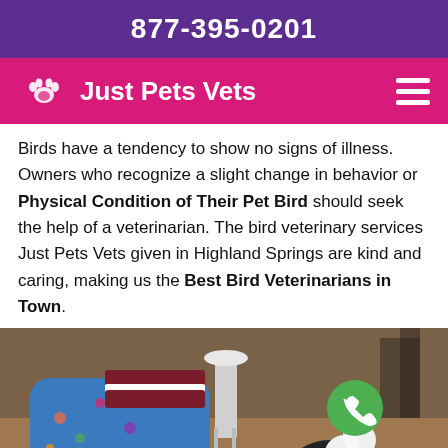877-395-0201
Just Pets Vets
Birds have a tendency to show no signs of illness. Owners who recognize a slight change in behavior or Physical Condition of Their Pet Bird should seek the help of a veterinarian. The bird veterinary services Just Pets Vets given in Highland Springs are kind and caring, making us the Best Bird Veterinarians in Town.
[Figure (photo): A veterinarian wearing blue gloves and colorful scrubs examining a black and white bird (appears to be a rabbit-like bird) on a table. A green phone call button is overlaid on the image. Text overlay reads 'Bird Vet' and 'Highland Springs, Virginia'.]